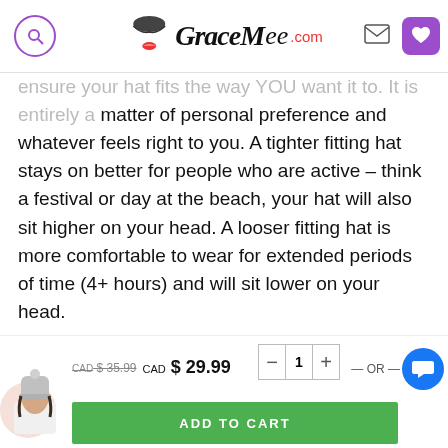GraceMee.com
is a matter of personal preference and whatever feels right to you. A tighter fitting hat stays on better for people who are active – think a festival or day at the beach, your hat will also sit higher on your head. A looser fitting hat is more comfortable to wear for extended periods of time (4+ hours) and will sit lower on your head.
RELATED PRODUCTS
[Figure (photo): Product thumbnail of a dark fluffy hat, partially visible at the bottom of the page]
[Figure (photo): Second related product thumbnail, partially visible]
[Figure (photo): Sticky bar thumbnail: woman wearing a beanie hat]
CAD$ 35.99  CAD$ 29.99
ADD TO CART
— OR —